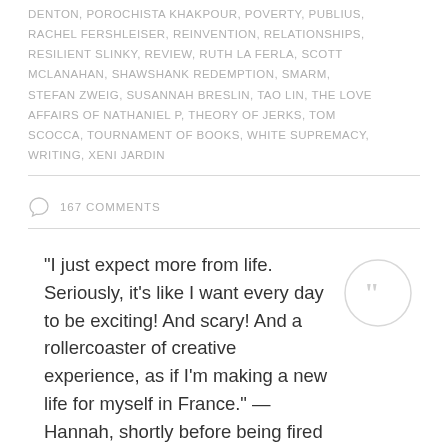DENTON, POROCHISTA KHAKPOUR, POVERTY, PUBLIUS, RACHEL FERSHLEISER, REINVENTION, RELATIONSHIPS, RESILIENT SLINKY, REVIEW, RUTH LA FERLA, SCOTT MCLANAHAN, SHAWSHANK REDEMPTION, SMARM, STEFAN ZWEIG, SUSANNAH BRESLIN, TAO LIN, THE LOVE AFFAIRS OF NATHANIEL P, THEORY OF JERKS, TOM SCOCCA, TOURNAMENT OF BOOKS, WHITE SUPREMACY, WRITING, XENI JARDIN
167 COMMENTS
"I just expect more from life. Seriously, it's like I want every day to be exciting! And scary! And a rollercoaster of creative experience, as if I'm making a new life for myself in France." — Hannah, shortly before being fired from GQ, Girls, "I Saw You."
"The change...